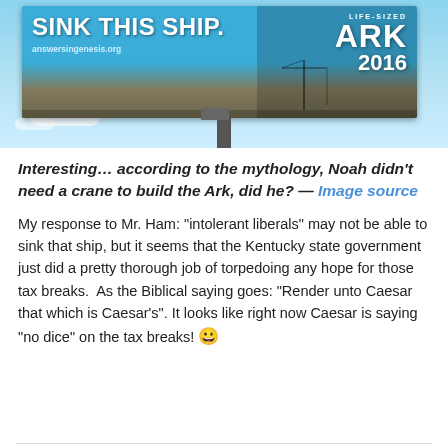[Figure (photo): Billboard advertisement for Answers in Genesis Life-Sized Ark 2016, with text 'SINK THIS SHIP.' and answersingenesis.org, mounted on a pole against a blue sky background with a large wooden ship structure visible.]
Interesting… according to the mythology, Noah didn't need a crane to build the Ark, did he? — Image source
My response to Mr. Ham: “intolerant liberals” may not be able to sink that ship, but it seems that the Kentucky state government just did a pretty thorough job of torpedoing any hope for those tax breaks.  As the Biblical saying goes: “Render unto Caesar that which is Caesar’s”. It looks like right now Caesar is saying “no dice” on the tax breaks! 😀